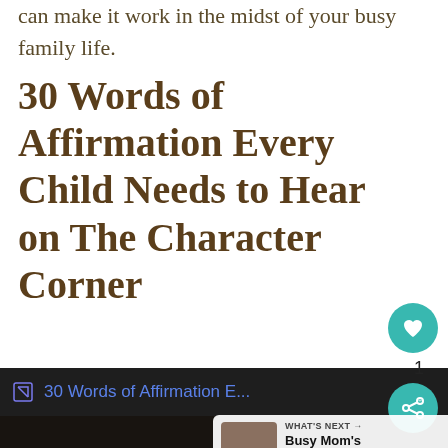can make it work in the midst of your busy family life.
30 Words of Affirmation Every Child Needs to Hear on The Character Corner
[Figure (screenshot): Screenshot of a browser tab showing '30 Words of Affirmation E...' link in blue on dark background, with a video thumbnail below featuring a dark-haired person, and a 'WHAT'S NEXT' popup showing 'Busy Mom's Guide to...' with a thumbnail. A teal heart button and share button with count '1' are overlaid on the right side.]